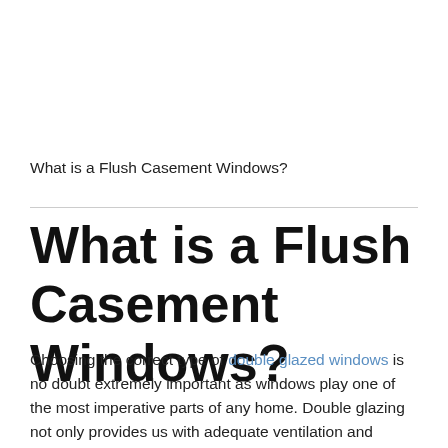What is a Flush Casement Windows?
What is a Flush Casement Windows?
Choosing the correct type of double glazed windows is no doubt extremely important as windows play one of the most imperative parts of any home. Double glazing not only provides us with adequate ventilation and natural light, but choosing a beautiful window profile can enrich the aesthetics of any property. This is why we at Peterborough Doors &